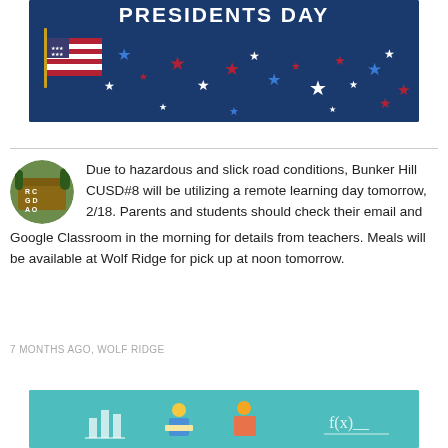[Figure (illustration): Presidents Day banner with dark blue background, American flag, red white and blue stars, and bold text reading PRESIDENTS DAY]
[Figure (photo): Circular school sign logo showing Bunker Hill school sign with letters R, C, G, D, A, O visible]
Due to hazardous and slick road conditions, Bunker Hill CUSD#8 will be utilizing a remote learning day tomorrow, 2/18. Parents and students should check their email and Google Classroom in the morning for details from teachers. Meals will be available at Wolf Ridge for pick up at noon tomorrow.
7 MONTHS AGO, WOLF RIDGE
[Figure (illustration): Teal/green banner showing educational infographic with bar chart, students reading, and mathematical function notation]